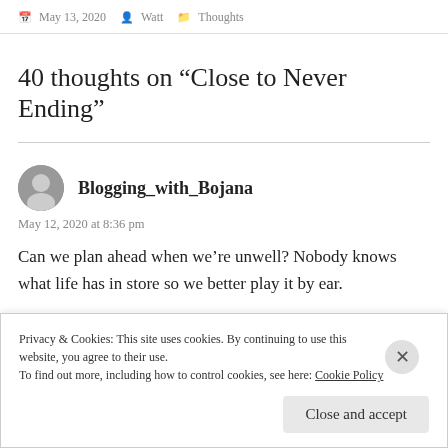May 13, 2020  Watt  Thoughts
40 thoughts on “Close to Never Ending”
Blogging_with_Bojana
May 12, 2020 at 8:36 pm
Can we plan ahead when we’re unwell? Nobody knows what life has in store so we better play it by ear.
Divinely crazed alone. I loved this. It’s very Bukowski.
Privacy & Cookies: This site uses cookies. By continuing to use this website, you agree to their use.
To find out more, including how to control cookies, see here: Cookie Policy